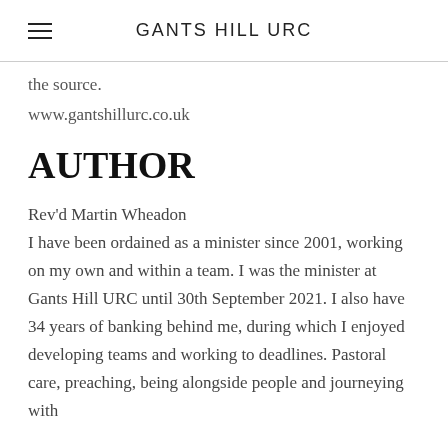GANTS HILL URC
the source.
www.gantshillurc.co.uk
AUTHOR
Rev'd Martin Wheadon
I have been ordained as a minister since 2001, working on my own and within a team. I was the minister at Gants Hill URC until 30th September 2021. I also have 34 years of banking behind me, during which I enjoyed developing teams and working to deadlines. Pastoral care, preaching, being alongside people and journeying with